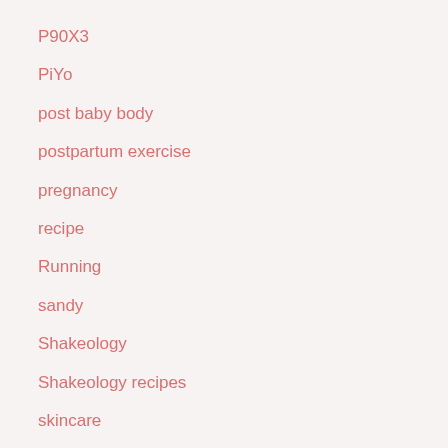P90X3
PiYo
post baby body
postpartum exercise
pregnancy
recipe
Running
sandy
Shakeology
Shakeology recipes
skincare
sleep
story
T25
To Do
Turbo Fire